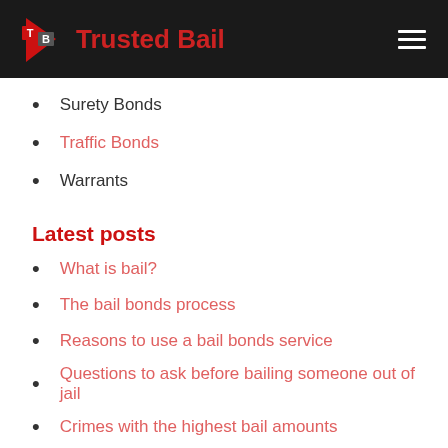Trusted Bail
Surety Bonds
Traffic Bonds
Warrants
Latest posts
What is bail?
The bail bonds process
Reasons to use a bail bonds service
Questions to ask before bailing someone out of jail
Crimes with the highest bail amounts